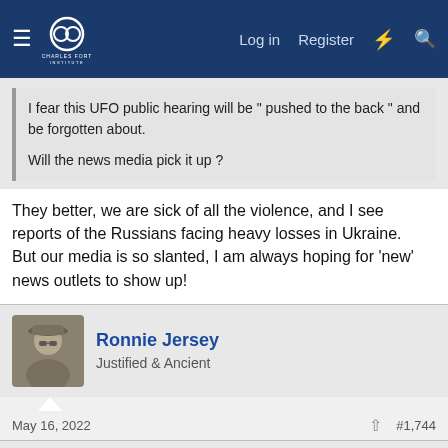Charles Fort Institute — Log in | Register
I fear this UFO public hearing will be " pushed to the back " and be forgotten about.

Will the news media pick it up ?
They better, we are sick of all the violence, and I see reports of the Russians facing heavy losses in Ukraine.
But our media is so slanted, I am always hoping for 'new' news outlets to show up!
Ronnie Jersey
Justified & Ancient
May 16, 2022  #1,744
This site uses cookies to help personalise content, tailor your experience and to keep you logged in if you register.
By continuing to use this site, you are consenting to our use of cookies.